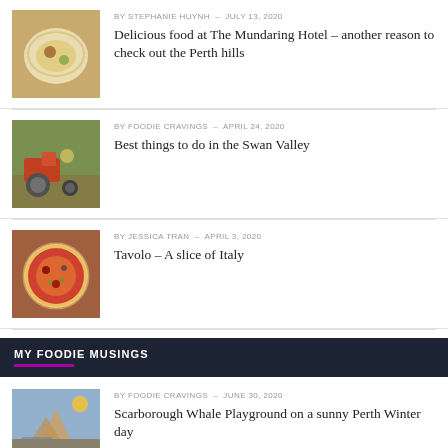[Figure (photo): Photo of a gourmet food dish on a white plate]
BY STEPHANIE HUYNH – JULY 13, 2020
Delicious food at The Mundaring Hotel – another reason to check out the Perth hills
[Figure (photo): Photo of a person on a red tractor in Swan Valley]
BY FOODIE CRAVINGS – APRIL 24, 2020
Best things to do in the Swan Valley
[Figure (photo): Photo of a pizza with toppings]
BY JESSICA TRAN – APRIL 3, 2020
Tavolo – A slice of Italy
MY FOODIE MUSINGS
[Figure (photo): Photo of Scarborough Whale Playground at sunset]
BY FOODIE CRAVINGS – JUNE 30, 2020
Scarborough Whale Playground on a sunny Perth Winter day